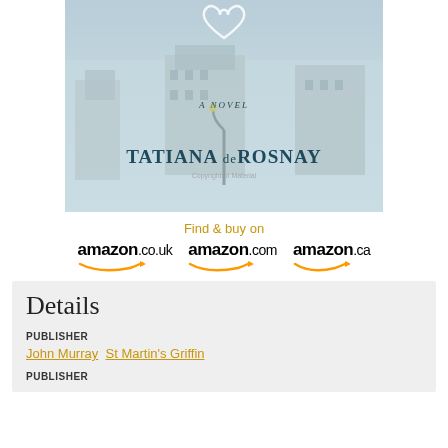[Figure (illustration): Book cover image with blue-tinted Paris cityscape background, text 'A NOVEL' in center, and 'TATIANA deROSNAY' author name at bottom with 'Copyrighted Material' watermark]
Find & buy on
[Figure (logo): Amazon.co.uk logo with orange smile arrow]
[Figure (logo): Amazon.com logo with orange smile arrow]
[Figure (logo): Amazon.ca logo with orange smile arrow]
Details
PUBLISHER
John Murray  St Martin's Griffin
PUBLISHER